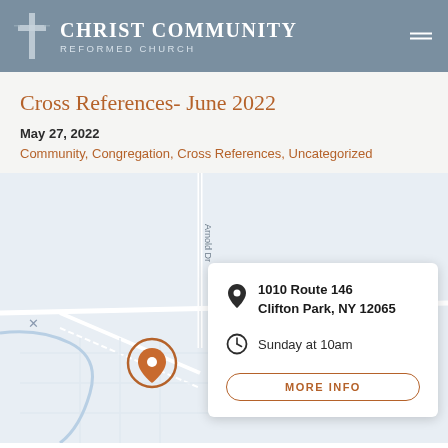Christ Community Reformed Church
Cross References- June 2022
May 27, 2022
Community, Congregation, Cross References, Uncategorized
[Figure (map): Street map showing location of Christ Community Reformed Church on Route 146, Clifton Park NY, with a pin marker and info card showing address and Sunday service time]
1010 Route 146
Clifton Park, NY 12065
Sunday at 10am
MORE INFO